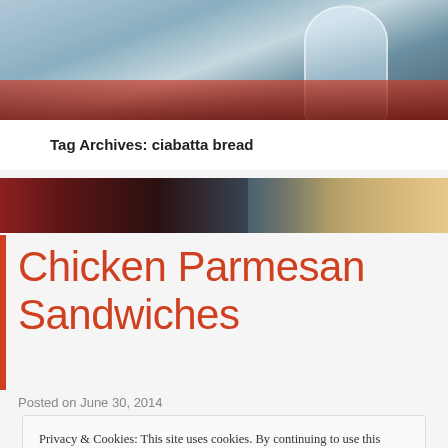[Figure (photo): Top banner photo of kitchen/food scene with a glass visible on the right side, blurred background in blue-grey tones]
Tag Archives: ciabatta bread
[Figure (photo): Middle banner photo strip showing dark red wine on the left and glasses/bottles on the right]
Chicken Parmesan Sandwiches
Posted on June 30, 2014
Privacy & Cookies: This site uses cookies. By continuing to use this website, you agree to their use.
To find out more, including how to control cookies, see here: Cookie Policy
Close and accept